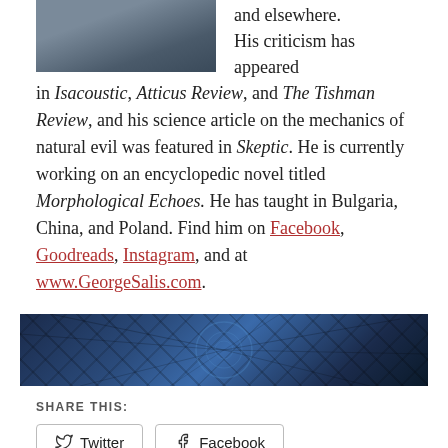[Figure (photo): Partial photo of a person in a jacket, upper body, with a bookshelf visible in background. Only lower portion visible at top of page.]
and elsewhere. His criticism has appeared in Isacoustic, Atticus Review, and The Tishman Review, and his science article on the mechanics of natural evil was featured in Skeptic. He is currently working on an encyclopedic novel titled Morphological Echoes. He has taught in Bulgaria, China, and Poland. Find him on Facebook, Goodreads, Instagram, and at www.GeorgeSalis.com.
[Figure (photo): Wide decorative banner image showing a dark blue geometric/spiral stained-glass or fractal pattern.]
SHARE THIS:
Twitter  Facebook
Loading...